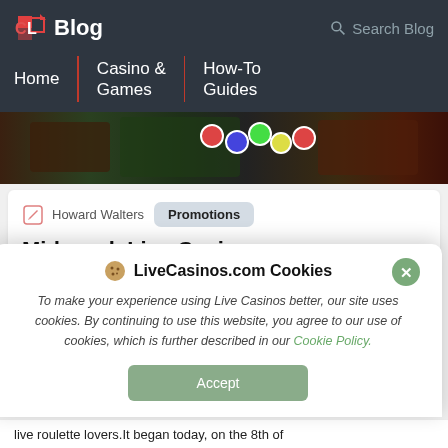Blog | Search Blog | Home | Casino & Games | How-To Guides
[Figure (photo): Casino table with chips and cards, wide banner image]
Howard Walters
Promotions
Mid-week Live Casino
LiveCasinos.com Cookies
To make your experience using Live Casinos better, our site uses cookies. By continuing to use this website, you agree to our use of cookies, which is further described in our Cookie Policy.
Accept
live roulette lovers.It began today, on the 8th of